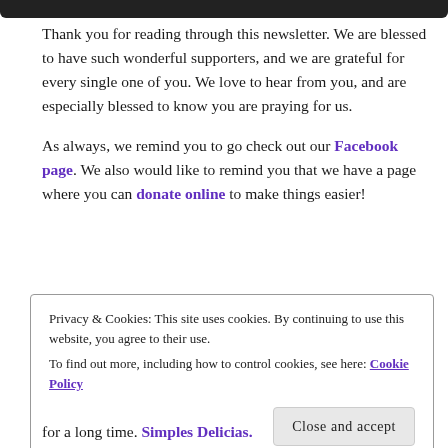Thank you for reading through this newsletter.  We are blessed to have such wonderful supporters, and we are grateful for every single one of you.  We love to hear from you, and are especially blessed to know you are praying for us.
As always, we remind you to go check out our Facebook page.  We also would like to remind you that we have a page where you can donate online to make things easier!
Privacy & Cookies: This site uses cookies. By continuing to use this website, you agree to their use.
To find out more, including how to control cookies, see here: Cookie Policy
[Close and accept]
for a long time.  Simples Delicias.